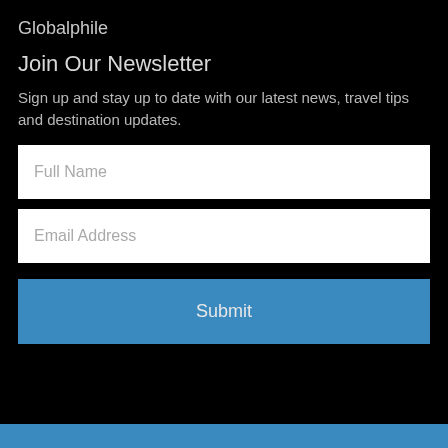Globalphile
Join Our Newsletter
Sign up and stay up to date with our latest news, travel tips and destination updates.
Full Name
Email Address
Submit